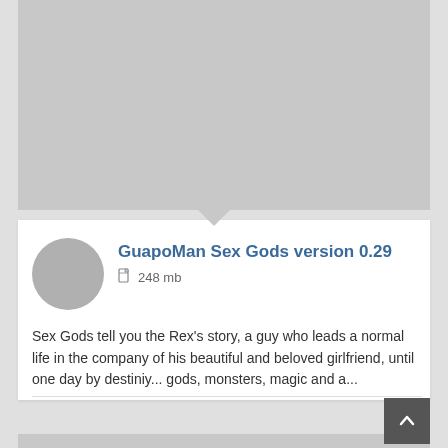[Figure (photo): Gray placeholder image area at top of page]
GuapoMan Sex Gods version 0.29
248 mb
Sex Gods tell you the Rex's story, a guy who leads a normal life in the company of his beautiful and beloved girlfriend, until one day by destiniy... gods, monsters, magic and a...
[Figure (photo): Partial gray placeholder image at bottom of page]